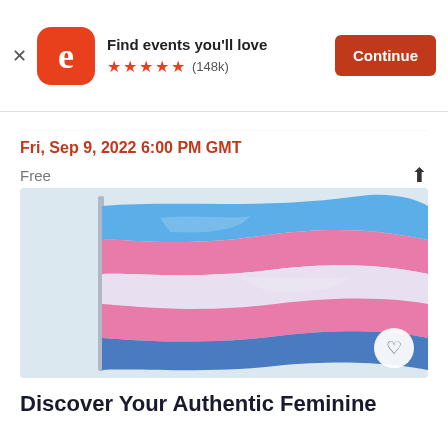[Figure (screenshot): Eventbrite app banner ad with orange logo, five orange stars rating, (148k) reviews, 'Find events you'll love' text, and orange 'Continue' button]
Fri, Sep 9, 2022 6:00 PM GMT
Free
[Figure (photo): Transgender pride flag (blue, pink, and white horizontal stripes) waving on a pole against a light sky]
Discover Your Authentic Feminine